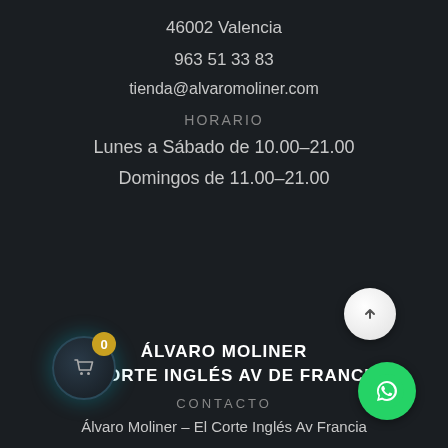46002 Valencia
963 51 33 83
tienda@alvaromoliner.com
HORARIO
Lunes a Sábado de 10.00–21.00
Domingos de 11.00–21.00
ÁLVARO MOLINER
EL CORTE INGLÉS AV DE FRANCIA
CONTACTO
Álvaro Moliner – El Corte Inglés Av Francia
[Figure (illustration): Cart icon button with badge showing 0, scroll-up button, and WhatsApp button]